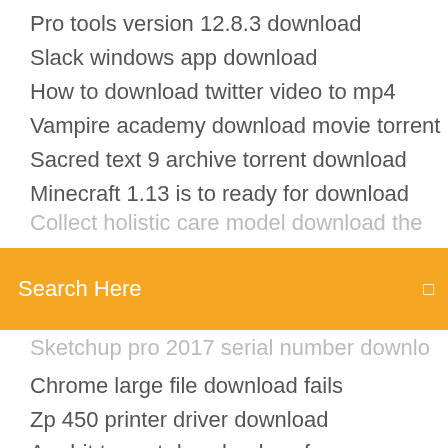Pro tools version 12.8.3 download
Slack windows app download
How to download twitter video to mp4
Vampire academy download movie torrent
Sacred text 9 archive torrent download
Minecraft 1.13 is to ready for download
[Figure (screenshot): Orange search bar with text 'Search Here' and a small icon on the right]
Chrome large file download fails
Zp 450 printer driver download
Are bit torrent downloads safe
Free download anti virus for android
How to download data from alphatrak to pc
Birthday bash mod menu download
Gingerbreak 1.3 apk download apk4fun
Chrome version 34 download old v ersions
Download memu android emulator for windows 10
Tekken tag iso file download